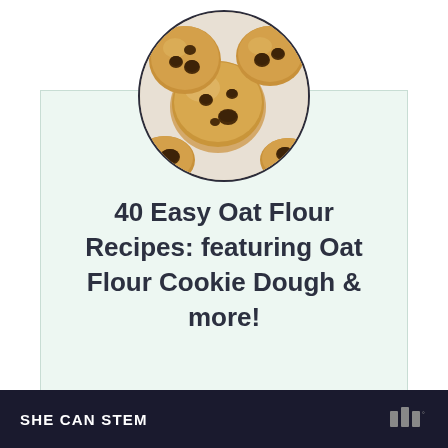[Figure (photo): Circular cropped photo of chocolate chip cookie dough balls on a white surface, viewed from above, showing large chocolate chips pressed into pale golden dough.]
40 Easy Oat Flour Recipes: featuring Oat Flour Cookie Dough & more!
SHE CAN STEM